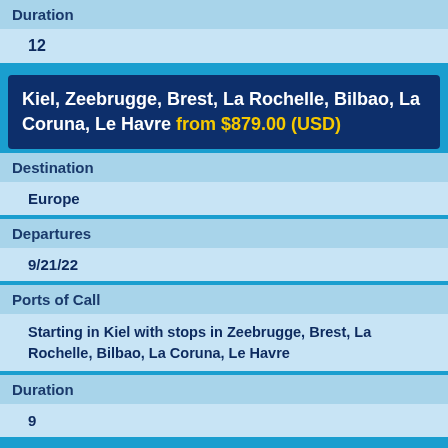Duration
12
Kiel, Zeebrugge, Brest, La Rochelle, Bilbao, La Coruna, Le Havre from $879.00 (USD)
Destination
Europe
Departures
9/21/22
Ports of Call
Starting in Kiel with stops in Zeebrugge, Brest, La Rochelle, Bilbao, La Coruna, Le Havre
Duration
9